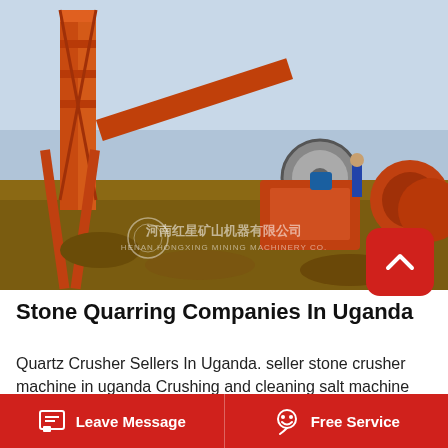[Figure (photo): Industrial stone crushing machinery with orange metal framework, conveyor belts, and drum rollers on a construction/mining site. A worker in a blue jacket stands near the equipment. Chinese text watermark visible: 河南红星矿山机器有限公司 / HENAN HONGXING MINING MACHINERY CO.]
Stone Quarring Companies In Uganda
Quartz Crusher Sellers In Uganda. seller stone crusher machine in uganda Crushing and cleaning salt machine from ugandaRock crusher used in construction in ethiopian no1 supplier savona
Leave Message   Free Service